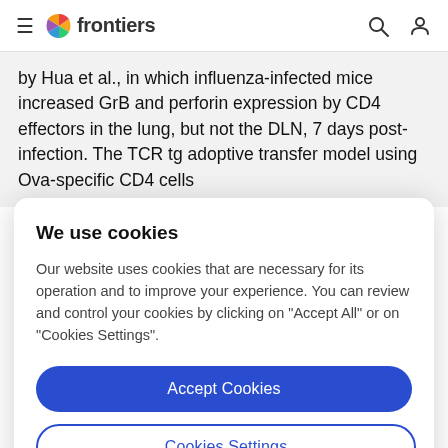frontiers
by Hua et al., in which influenza-infected mice increased GrB and perforin expression by CD4 effectors in the lung, but not the DLN, 7 days post-infection. The TCR tg adoptive transfer model using Ova-specific CD4 cells
We use cookies
Our website uses cookies that are necessary for its operation and to improve your experience. You can review and control your cookies by clicking on "Accept All" or on "Cookies Settings".
Accept Cookies
Cookies Settings